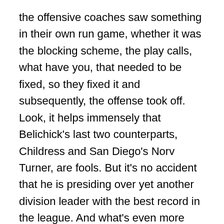the offensive coaches saw something in their own run game, whether it was the blocking scheme, the play calls, what have you, that needed to be fixed, so they fixed it and subsequently, the offense took off. Look, it helps immensely that Belichick's last two counterparts, Childress and San Diego's Norv Turner, are fools. But it's no accident that he is presiding over yet another division leader with the best record in the league. And what's even more impressive is that this year's team is so young. The mean age on defense is 24.8 with four rookie starters and another three in just their second years. And further, the Vikings feature one big name, star player after another on both sides of the ball while the Pats feature one – Tom Brady. A case can be made that Welker, Mayo and Wilfork are in that category too, but while they are all excellent, widely recognized players